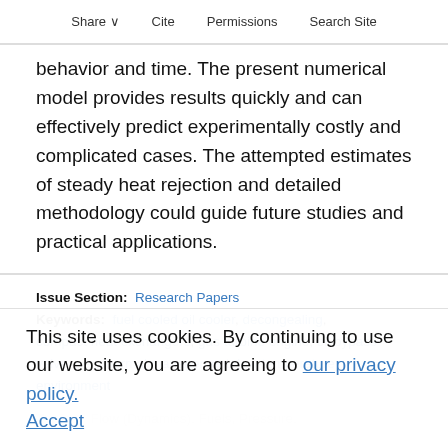Share  Cite  Permissions  Search Site
behavior and time. The present numerical model provides results quickly and can effectively predict experimentally costly and complicated cases. The attempted estimates of steady heat rejection and detailed methodology could guide future studies and practical applications.
Issue Section: Research Papers
Keywords: fuel cooled oil cooler, decongealing, compact heat exchangers, gas turbine engine, oil bypass valve, aerothermal management, low-temperature environment
Topics: Flow (Dynamics), Fuels, Pressure,
This site uses cookies. By continuing to use our website, you are agreeing to our privacy policy. Accept